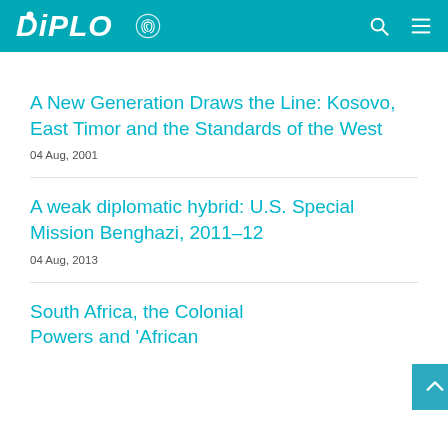DIPLO [logo with fingerprint icon]
A New Generation Draws the Line: Kosovo, East Timor and the Standards of the West
04 Aug, 2001
A weak diplomatic hybrid: U.S. Special Mission Benghazi, 2011-12
04 Aug, 2013
South Africa, the Colonial Powers and 'African…